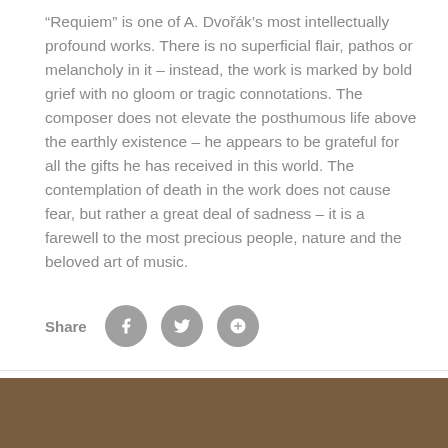“Requiem” is one of A. Dvořák’s most intellectually profound works. There is no superficial flair, pathos or melancholy in it – instead, the work is marked by bold grief with no gloom or tragic connotations. The composer does not elevate the posthumous life above the earthly existence – he appears to be grateful for all the gifts he has received in this world. The contemplation of death in the work does not cause fear, but rather a great deal of sadness – it is a farewell to the most precious people, nature and the beloved art of music.
[Figure (other): Share row with social media buttons: Facebook (f), Twitter (bird), Google+]